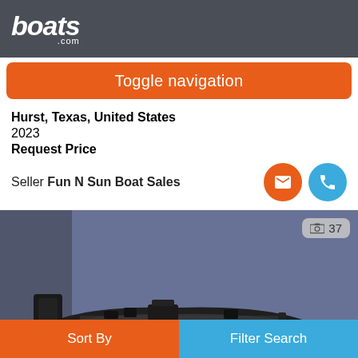boats.com
Toggle navigation
Hurst, Texas, United States
2023
Request Price
Seller Fun N Sun Boat Sales
[Figure (photo): A black bass fishing boat on a trailer inside a dealership showroom with blue walls. Photo count badge showing 37 photos.]
Sort By   Filter Search